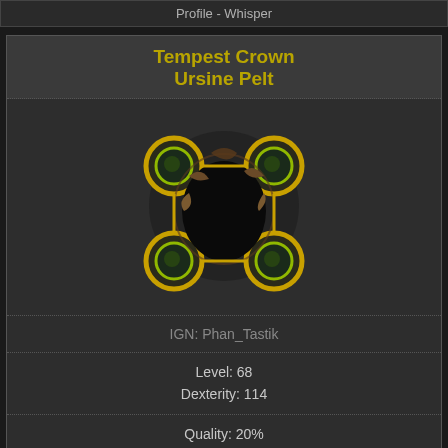Profile - Whisper
Tempest Crown Ursine Pelt
[Figure (illustration): Game item helmet image: Tempest Crown Ursine Pelt with four green gem sockets arranged in a square pattern around a dark fur/pelt center with gold connecting rings]
IGN: Phan_Tastik
Level: 68
Dexterity: 114
Quality: 20%
Evasion: 575
+41 to Dexterity | S3
73% increased Evasion Rating | P4
+35% to Cold Resistance | S4
Reflects 6 Physical Damage to Melee Attackers | P1